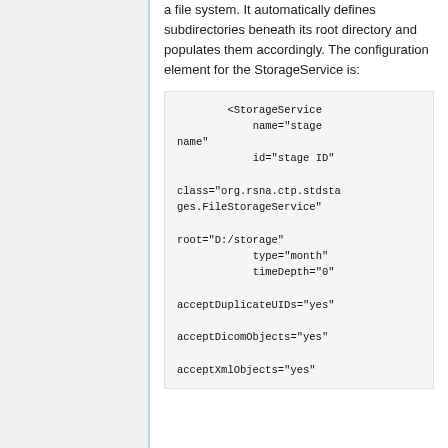a file system. It automatically defines subdirectories beneath its root directory and populates them accordingly. The configuration element for the StorageService is:
<StorageService
            name="stage name"
            id="stage ID"

class="org.rsna.ctp.stdstages.FileStorageService"

root="D:/storage"
            type="month"
            timeDepth="0"

acceptDuplicateUIDs="yes"

acceptDicomObjects="yes"

acceptXmlObjects="yes"